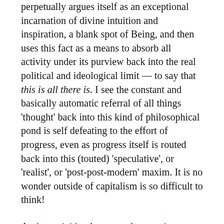perpetually argues itself as an exceptional incarnation of divine intuition and inspiration, a blank spot of Being, and then uses this fact as a means to absorb all activity under its purview back into the real political and ideological limit — to say that this is all there is. I see the constant and basically automatic referral of all things 'thought' back into this kind of philosophical pond is self defeating to the effort of progress, even as progress itself is routed back into this (touted) 'speculative', or 'realist', or 'post-post-modern' maxim. It is no wonder outside of capitalism is so difficult to think!

As Amoreinblog has argued somewhere, perhaps anthropology is the way out of this philosophical conundrum; despite all the philosophical misappropriations of ideas involved with the